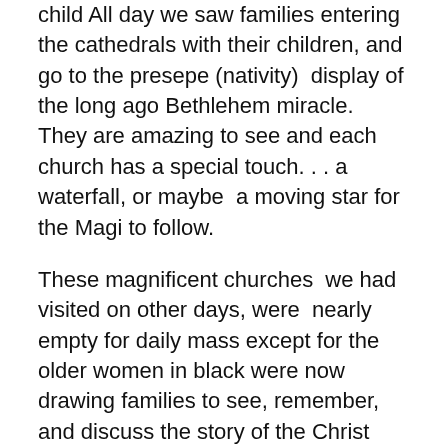child All day we saw families entering the cathedrals with their children, and go to the presepe (nativity) display of the long ago Bethlehem miracle. They are amazing to see and each church has a special touch. . . a waterfall, or maybe a moving star for the Magi to follow.
These magnificent churches we had visited on other days, were nearly empty for daily mass except for the older women in black were now drawing families to see, remember, and discuss the story of the Christ child. Maybe it was just a tradition, maybe the respect of Romans for families and especially mothers, or maybe even in this secular country a tiny mustard seed of faith and hope for the story of the Savior of the World come to earth on a Christmas night, so long ago.
So on this December 23 as I remember a special Roman Christmas, I want to share with you pictures from Google...